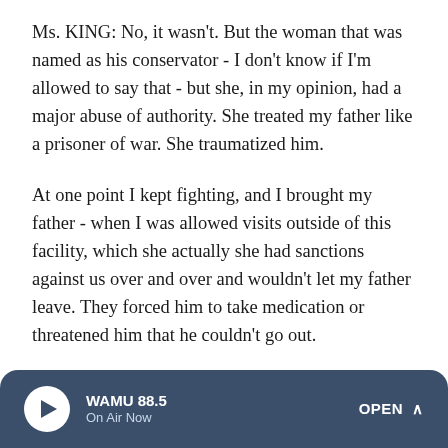Ms. KING: No, it wasn't. But the woman that was named as his conservator - I don't know if I'm allowed to say that - but she, in my opinion, had a major abuse of authority. She treated my father like a prisoner of war. She traumatized him.
At one point I kept fighting, and I brought my father - when I was allowed visits outside of this facility, which she actually she had sanctions against us over and over and wouldn't let my father leave. They forced him to take medication or threatened him that he couldn't go out.
At one point, I took him on a visit to New York. He said he had chest pains. I put him in a hospital. This woman came all the way down from Connecticut. As in she had the medical...
WAMU 88.5 On Air Now OPEN